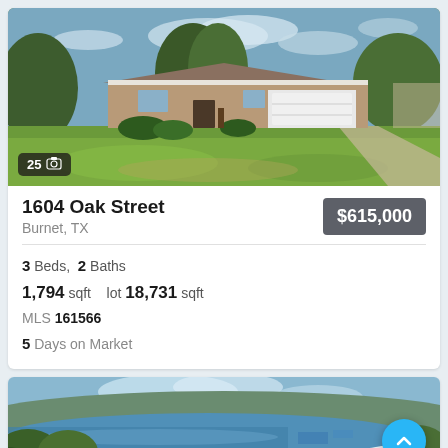[Figure (photo): Exterior photo of a single-story brick ranch house with white garage door, green lawn, and trees. Badge shows '25' photos with camera icon.]
1604 Oak Street
Burnet, TX
$615,000
3 Beds,  2 Baths
1,794 sqft   lot 18,731 sqft
MLS 161566
5 Days on Market
[Figure (photo): Aerial panoramic photo of a lake surrounded by trees and hills with blue sky and clouds.]